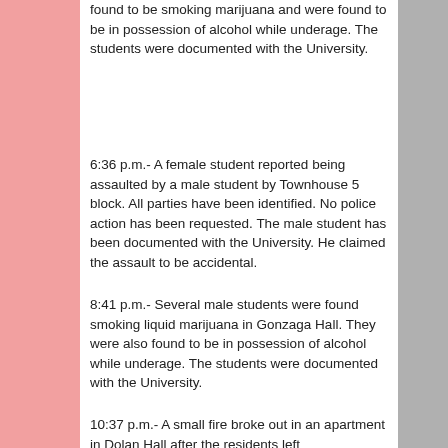found to be smoking marijuana and were found to be in possession of alcohol while underage. The students were documented with the University.
6:36 p.m.- A female student reported being assaulted by a male student by Townhouse 5 block. All parties have been identified. No police action has been requested. The male student has been documented with the University. He claimed the assault to be accidental.
8:41 p.m.- Several male students were found smoking liquid marijuana in Gonzaga Hall. They were also found to be in possession of alcohol while underage. The students were documented with the University.
10:37 p.m.- A small fire broke out in an apartment in Dolan Hall after the residents left